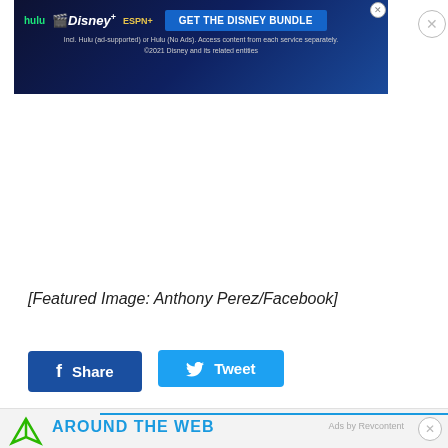[Figure (screenshot): Disney Bundle advertisement banner with Hulu, Disney+, ESPN+ logos and 'GET THE DISNEY BUNDLE' call-to-action button on dark blue gradient background]
[Featured Image: Anthony Perez/Facebook]
[Figure (other): Facebook Share button (dark blue) and Twitter Tweet button (light blue)]
[Figure (screenshot): Around the Web section header with Revcontent logo icon, light blue divider line, and 'Ads by Revcontent' label]
[Figure (screenshot): Second Disney Bundle advertisement banner at bottom of page]